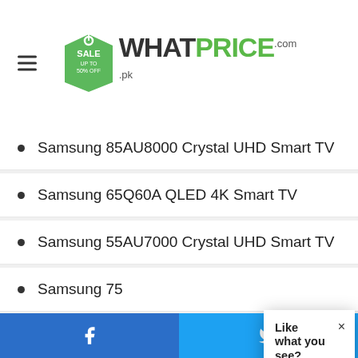WhatPrice.com.pk
Samsung 85AU8000 Crystal UHD Smart TV
Samsung 65Q60A QLED 4K Smart TV
Samsung 55AU7000 Crystal UHD Smart TV
Samsung 75...
Samsung 55...
Samsung 55...
Samsung 85...
Samsung 55...
[Figure (screenshot): Popup overlay with social follow prompt: 'Like what you see?' with Facebook and Instagram follow buttons]
Facebook and Twitter share buttons